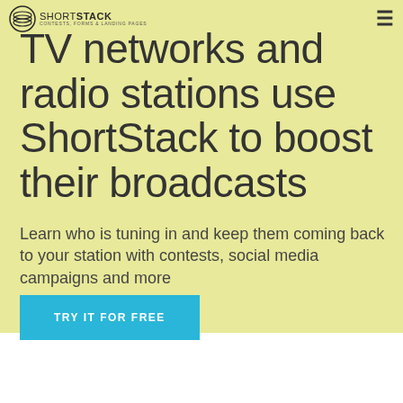SHORT STACK — CONTESTS, FORMS & LANDING PAGES
TV networks and radio stations use ShortStack to boost their broadcasts
Learn who is tuning in and keep them coming back to your station with contests, social media campaigns and more
TRY IT FOR FREE